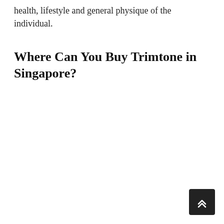health, lifestyle and general physique of the individual.
Where Can You Buy Trimtone in Singapore?